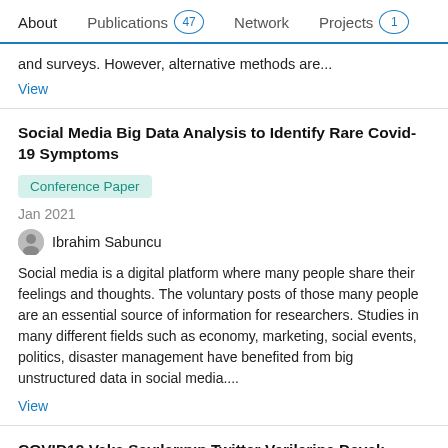About  Publications 47  Network  Projects 1
and surveys. However, alternative methods are...
View
Social Media Big Data Analysis to Identify Rare Covid-19 Symptoms
Conference Paper
Jan 2021
Ibrahim Sabuncu
Social media is a digital platform where many people share their feelings and thoughts. The voluntary posts of those many people are an essential source of information for researchers. Studies in many different fields such as economy, marketing, social events, politics, disaster management have benefited from big unstructured data in social media....
View
COVID19 Vaka Sayılarının Twitter Verilerine Dayalı Tahmin